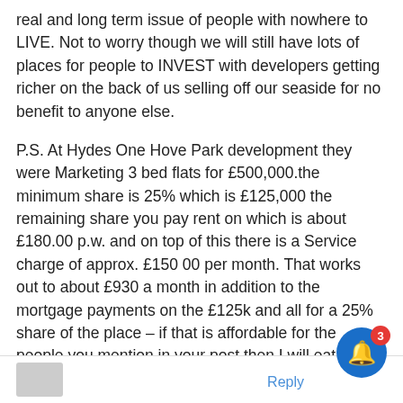real and long term issue of people with nowhere to LIVE. Not to worry though we will still have lots of places for people to INVEST with developers getting richer on the back of us selling off our seaside for no benefit to anyone else.
P.S. At Hydes One Hove Park development they were Marketing 3 bed flats for £500,000.the minimum share is 25% which is £125,000 the remaining share you pay rent on which is about £180.00 p.w. and on top of this there is a Service charge of approx. £150 00 per month. That works out to about £930 a month in addition to the mortgage payments on the £125k and all for a 25% share of the place – if that is affordable for the people you mention in your post then I will eat my hat.